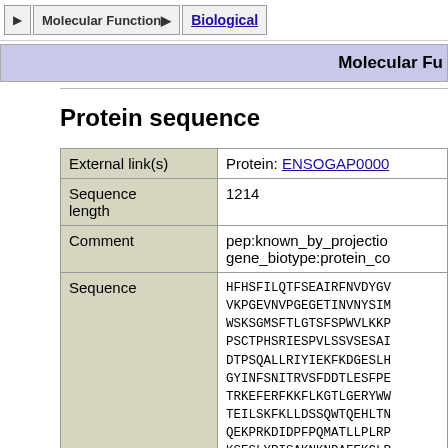▶  Molecular Function ▶  Biological
Molecular Fu...
Protein sequence
|  |  |
| --- | --- |
| External link(s) | Protein: ENSOGAP0000... |
| Sequence length | 1214 |
| Comment | pep:known_by_projectio
gene_biotype:protein_co |
| Sequence | HFHSFILQTFSEAIRFNVDYGV
VKPGEVNVPGEGETINVNYSIM
WSKSGMSFTLGTSFSPWVLKKP
PSCTPHSRIESPVLSSVSESAI
DTPSQALLRIYIEKFKDGESLH
GYINFSNITRVSFDDTLESFPE
TRKEFERFKKFLKGTLGERYWW
TEILSKFKLLDSSQWTQEHLTN
QEKPRKDIDPFPQMATLLPLRP
KSESLYPISAKNKNDAFEKGLR
SMLDVGTLGGGDMESLLQSLYV
QETLQPFKVCKQAQYLFATYIA
LLLEPWMKMIKSDQLTYKKVDL
NVSKQTEYWNNVPFEYKHENEM |